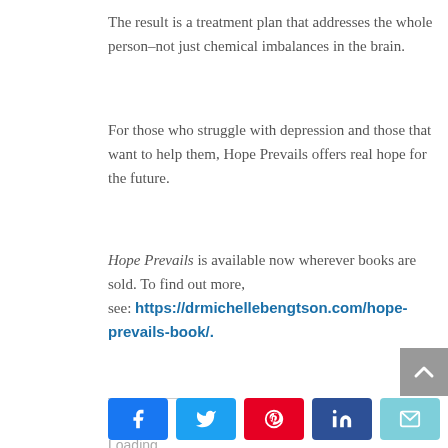The result is a treatment plan that addresses the whole person–not just chemical imbalances in the brain.
For those who struggle with depression and those that want to help them, Hope Prevails offers real hope for the future.
Hope Prevails is available now wherever books are sold. To find out more, see: https://drmichellebengtson.com/hope-prevails-book/.
Like this:
Loading...